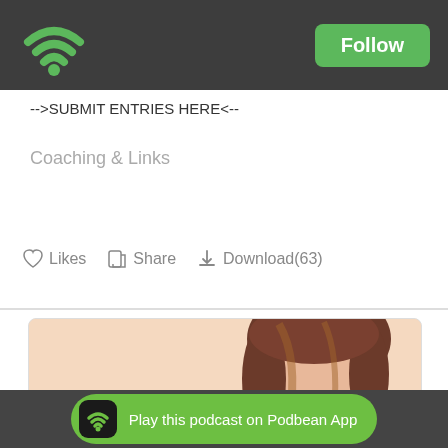[Figure (logo): Podbean wifi/podcast logo in green on dark gray header bar]
Follow
-->SUBMIT ENTRIES HERE<--
Coaching & Links
Likes   Share   Download(63)
[Figure (photo): Photo of a woman with brown hair against a peach/light orange background, partially cropped]
Play this podcast on Podbean App